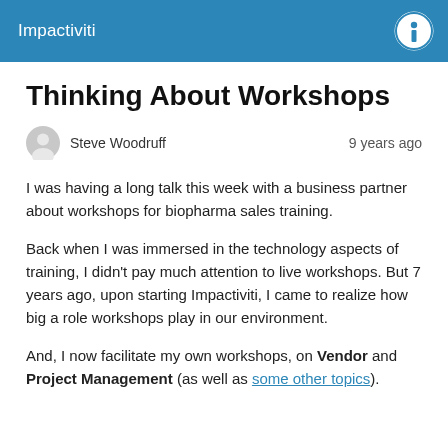Impactiviti
Thinking About Workshops
Steve Woodruff   9 years ago
I was having a long talk this week with a business partner about workshops for biopharma sales training.
Back when I was immersed in the technology aspects of training, I didn't pay much attention to live workshops. But 7 years ago, upon starting Impactiviti, I came to realize how big a role workshops play in our environment.
And, I now facilitate my own workshops, on Vendor and Project Management (as well as some other topics).